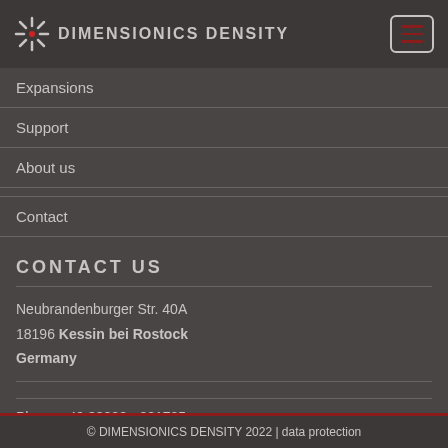DIMENSIONICS DENSITY
Expansions
Support
About us
Contact
CONTACT US
Neubrandenburger Str. 40A
18196 Kessin bei Rostock
Germany
Phone +49 38208 - 821705
© DIMENSIONICS DENSITY 2022 | data protection